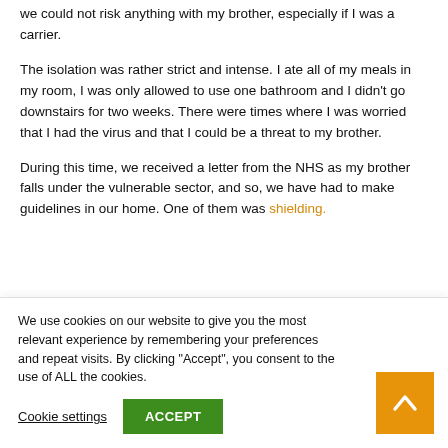we could not risk anything with my brother, especially if I was a carrier.
The isolation was rather strict and intense. I ate all of my meals in my room, I was only allowed to use one bathroom and I didn't go downstairs for two weeks. There were times where I was worried that I had the virus and that I could be a threat to my brother.
During this time, we received a letter from the NHS as my brother falls under the vulnerable sector, and so, we have had to make guidelines in our home. One of them was shielding.
We use cookies on our website to give you the most relevant experience by remembering your preferences and repeat visits. By clicking “Accept”, you consent to the use of ALL the cookies.
Cookie settings
ACCEPT